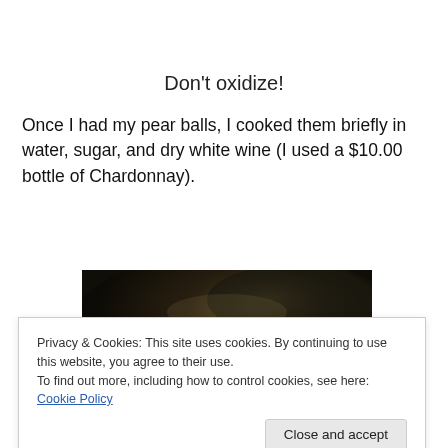Don’t oxidize!
Once I had my pear balls, I cooked them briefly in water, sugar, and dry white wine (I used a $10.00 bottle of Chardonnay).
[Figure (photo): Close-up photograph of a dark cooking pan with shiny, darkly-lit surface, likely showing pear balls being cooked]
Privacy & Cookies: This site uses cookies. By continuing to use this website, you agree to their use.
To find out more, including how to control cookies, see here: Cookie Policy